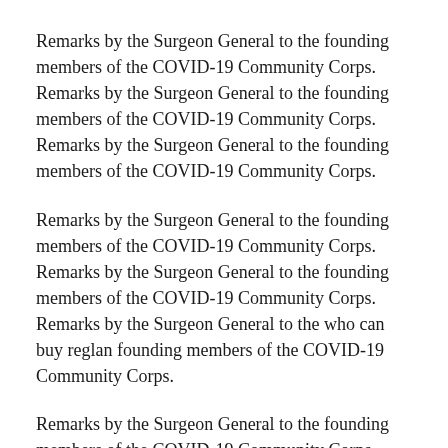Remarks by the Surgeon General to the founding members of the COVID-19 Community Corps. Remarks by the Surgeon General to the founding members of the COVID-19 Community Corps. Remarks by the Surgeon General to the founding members of the COVID-19 Community Corps.
Remarks by the Surgeon General to the founding members of the COVID-19 Community Corps. Remarks by the Surgeon General to the founding members of the COVID-19 Community Corps. Remarks by the Surgeon General to the who can buy reglan founding members of the COVID-19 Community Corps.
Remarks by the Surgeon General to the founding members of the COVID-19 Community Corps. Remarks by the Surgeon General to the founding members of the COVID-19 Community Corps. Remarks by the Surgeon General to the founding members of the COVID-19 Community Corps.
Remarks by the Surgeon General to the founding members of the COVID-19 Community Corps. Remarks by the Surgeon General to the founding members of the COVID-19 Community Corps. Remarks by the Surgeon